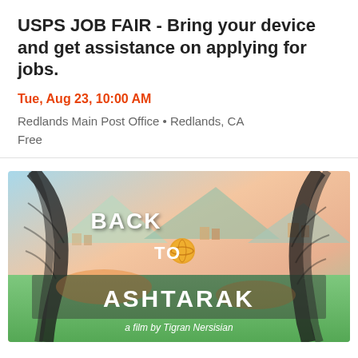USPS JOB FAIR - Bring your device and get assistance on applying for jobs.
Tue, Aug 23, 10:00 AM
Redlands Main Post Office • Redlands, CA
Free
[Figure (illustration): Film poster for 'Back To Ashtarak - a film by Tigran Nersisian'. Colorful illustrated/sketched artwork showing figures and a landscape with mountains, rendered in watercolor style with black ink outlines. Text overlaid on the image reads 'BACK TO ASHTARAK' and 'a film by Tigran Nersisian'.]